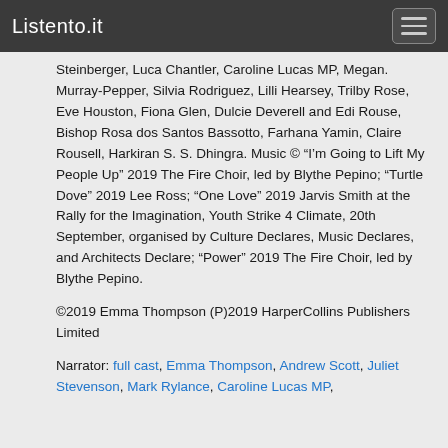Listento.it
Steinberger, Luca Chantler, Caroline Lucas MP, Megan. Murray-Pepper, Silvia Rodriguez, Lilli Hearsey, Trilby Rose, Eve Houston, Fiona Glen, Dulcie Deverell and Edi Rouse, Bishop Rosa dos Santos Bassotto, Farhana Yamin, Claire Rousell, Harkiran S. S. Dhingra. Music © “I’m Going to Lift My People Up” 2019 The Fire Choir, led by Blythe Pepino; “Turtle Dove” 2019 Lee Ross; “One Love” 2019 Jarvis Smith at the Rally for the Imagination, Youth Strike 4 Climate, 20th September, organised by Culture Declares, Music Declares, and Architects Declare; “Power” 2019 The Fire Choir, led by Blythe Pepino.
©2019 Emma Thompson (P)2019 HarperCollins Publishers Limited
Narrator: full cast, Emma Thompson, Andrew Scott, Juliet Stevenson, Mark Rylance, Caroline Lucas MP,